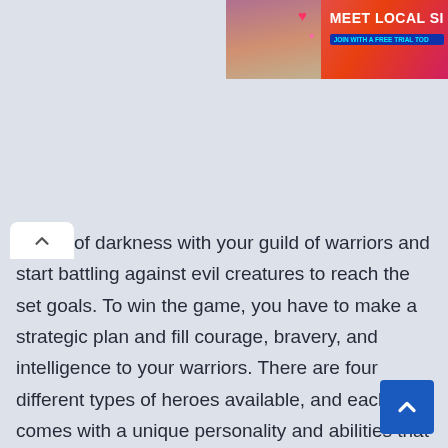[Figure (photo): Advertisement banner in top-right corner with a woman photo and text 'MEET LOCAL SI' and 'JOIN WITH A FREE TRIAL TODAY']
of darkness with your guild of warriors and start battling against evil creatures to reach the set goals. To win the game, you have to make a strategic plan and fill courage, bravery, and intelligence to your warriors. There are four different types of heroes available, and each one comes with a unique personality and abilities that the player can use to become the master. The game features a unique storyline for each quest and represents the game using the classic board game style.